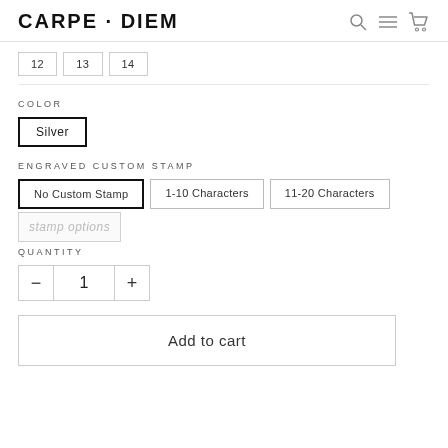CARPE · DIEM
12  13  14
COLOR
Silver
ENGRAVED CUSTOM STAMP
No Custom Stamp | 1-10 Characters | 11-20 Characters
stamp options
QUANTITY
- 1 +
Add to cart